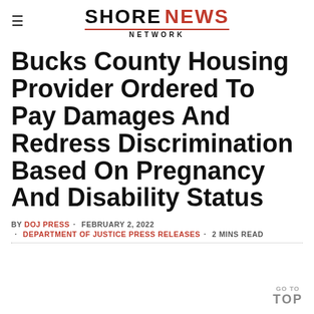SHORE NEWS NETWORK
Bucks County Housing Provider Ordered To Pay Damages And Redress Discrimination Based On Pregnancy And Disability Status
BY DOJ PRESS · FEBRUARY 2, 2022 · DEPARTMENT OF JUSTICE PRESS RELEASES · 2 MINS READ